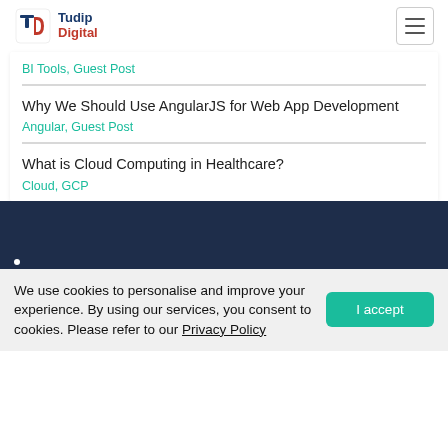Tudip Digital
BI Tools, Guest Post
Why We Should Use AngularJS for Web App Development
Angular, Guest Post
What is Cloud Computing in Healthcare?
Cloud, GCP
We use cookies to personalise and improve your experience. By using our services, you consent to cookies. Please refer to our Privacy Policy